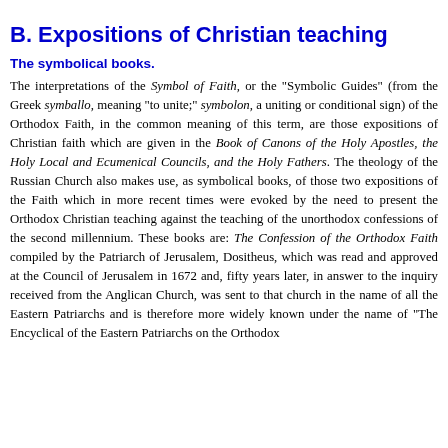B. Expositions of Christian teaching
The symbolical books.
The interpretations of the Symbol of Faith, or the "Symbolic Guides" (from the Greek symballo, meaning "to unite;" symbolon, a uniting or conditional sign) of the Orthodox Faith, in the common meaning of this term, are those expositions of Christian faith which are given in the Book of Canons of the Holy Apostles, the Holy Local and Ecumenical Councils, and the Holy Fathers. The theology of the Russian Church also makes use, as symbolical books, of those two expositions of the Faith which in more recent times were evoked by the need to present the Orthodox Christian teaching against the teaching of the unorthodox confessions of the second millennium. These books are: The Confession of the Orthodox Faith compiled by the Patriarch of Jerusalem, Dositheus, which was read and approved at the Council of Jerusalem in 1672 and, fifty years later, in answer to the inquiry received from the Anglican Church, was sent to that church in the name of all the Eastern Patriarchs and is therefore more widely known under the name of "The Encyclical of the Eastern Patriarchs on the Orthodox